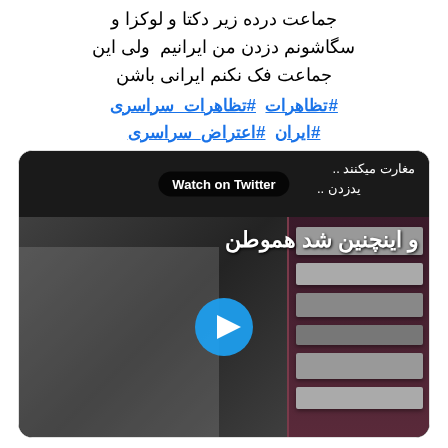جماعت درده زیر دکتا و لوکز و سگاشونم دزدن من ایرانیم ولی این جماعت فک نکنم ایرانی باشن
#تظاهرات #تظاهرات_سراسری #ایران #اعتراض_سراسری
[Figure (screenshot): Embedded Twitter video card showing a CCTV footage of a shop being looted. The video thumbnail shows people inside what appears to be a store or electronics shop. Persian text 'و اینچنین شد هموطن' overlays the video. A 'Watch on Twitter' button is visible on the top portion, and a blue play button circle is centered on the video thumbnail.]